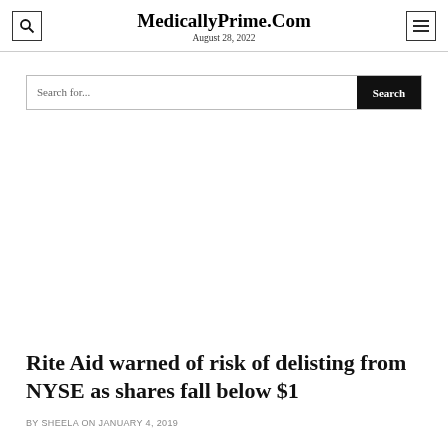MedicallyPrime.Com
August 28, 2022
Search for...
Rite Aid warned of risk of delisting from NYSE as shares fall below $1
BY SHEELA ON JANUARY 4, 2019